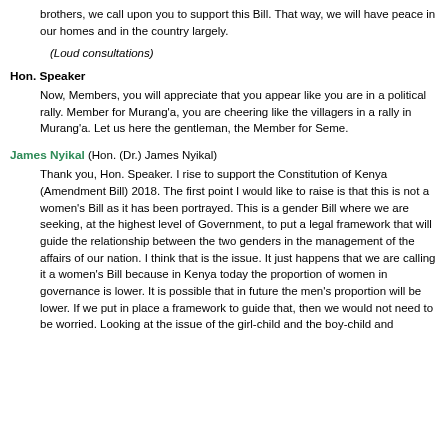brothers, we call upon you to support this Bill. That way, we will have peace in our homes and in the country largely.
(Loud consultations)
Hon. Speaker
Now, Members, you will appreciate that you appear like you are in a political rally. Member for Murang'a, you are cheering like the villagers in a rally in Murang'a. Let us here the gentleman, the Member for Seme.
James Nyikal (Hon. (Dr.) James Nyikal)
Thank you, Hon. Speaker. I rise to support the Constitution of Kenya (Amendment Bill) 2018. The first point I would like to raise is that this is not a women's Bill as it has been portrayed. This is a gender Bill where we are seeking, at the highest level of Government, to put a legal framework that will guide the relationship between the two genders in the management of the affairs of our nation. I think that is the issue. It just happens that we are calling it a women's Bill because in Kenya today the proportion of women in governance is lower. It is possible that in future the men's proportion will be lower. If we put in place a framework to guide that, then we would not need to be worried. Looking at the issue of the girl-child and the boy-child and